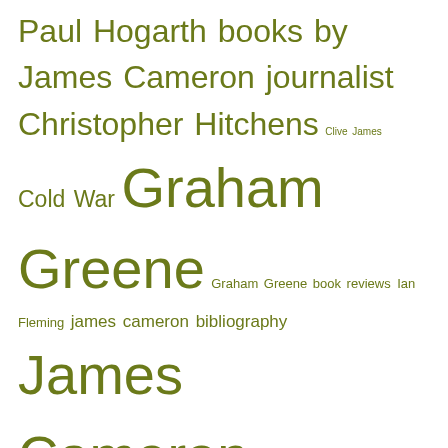[Figure (infographic): Tag cloud with various terms related to journalism, Cold War, authors, and photography in olive/dark yellow-green color. Terms vary in font size indicating frequency/importance. Terms include: Paul Hogarth books by James Cameron journalist, Christopher Hitchens, Clive James, Cold War, Graham Greene, Graham Greene book reviews, Ian Fleming, james cameron bibliography, James Cameron Journalist, James Cameron journalist books, John Le Carre, John McLaughlin, Korean War, Len Deighton, M*A*S*H, Norman Sherry, Paul Bowles, Paul Hogarth, Paul Hogarth Artist, Paul Hogarth books, photojournalism, spies, Vietnam, Vietnam War, war photography]